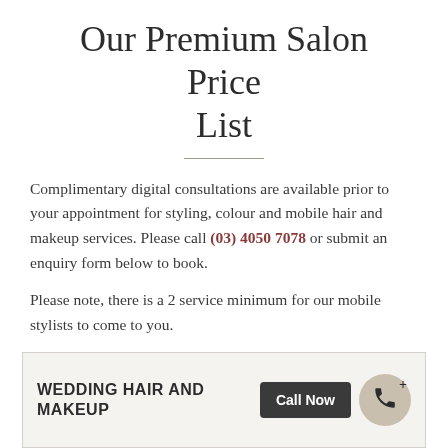Our Premium Salon Price List
Complimentary digital consultations are available prior to your appointment for styling, colour and mobile hair and makeup services. Please call (03) 4050 7078 or submit an enquiry form below to book.
Please note, there is a 2 service minimum for our mobile stylists to come to you.
WEDDING HAIR AND MAKEUP